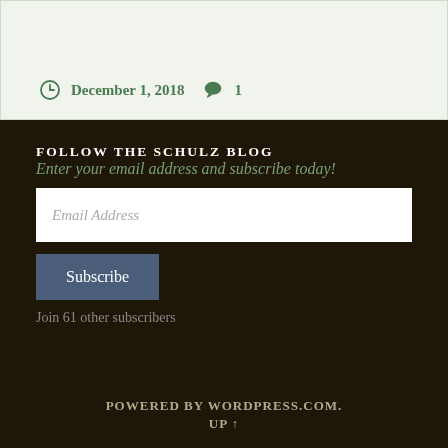December 1, 2018   1
FOLLOW THE SCHULZ BLOG
Enter your email address and subscribe today!
Email Address
Subscribe
Join 61 other subscribers
POWERED BY WORDPRESS.COM. UP ↑